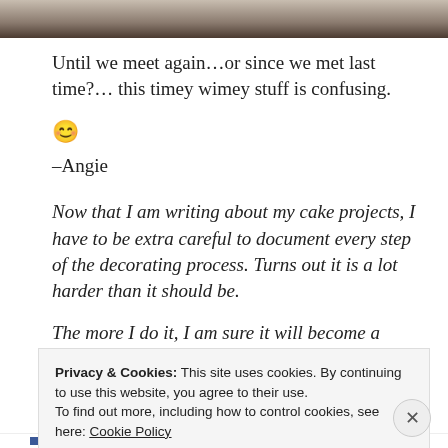[Figure (photo): Top image strip showing dark colored object, partially cropped]
Until we meet again...or since we met last time?... this timey wimey stuff is confusing.
😊
–Angie
Now that I am writing about my cake projects, I have to be extra careful to document every step of the decorating process. Turns out it is a lot harder than it should be.
The more I do it, I am sure it will become a habit, so for now,
Privacy & Cookies: This site uses cookies. By continuing to use this website, you agree to their use. To find out more, including how to control cookies, see here: Cookie Policy
Close and accept